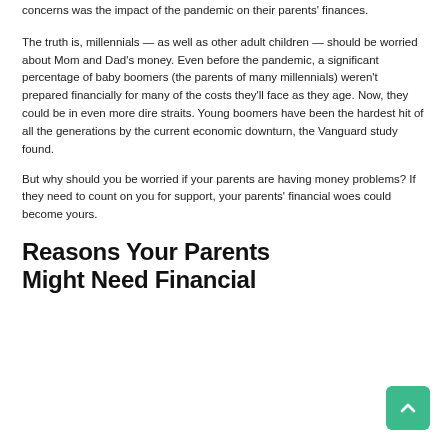concerns was the impact of the pandemic on their parents' finances.
The truth is, millennials — as well as other adult children — should be worried about Mom and Dad's money. Even before the pandemic, a significant percentage of baby boomers (the parents of many millennials) weren't prepared financially for many of the costs they'll face as they age. Now, they could be in even more dire straits. Young boomers have been the hardest hit of all the generations by the current economic downturn, the Vanguard study found.
But why should you be worried if your parents are having money problems? If they need to count on you for support, your parents' financial woes could become yours.
Reasons Your Parents Might Need Financial